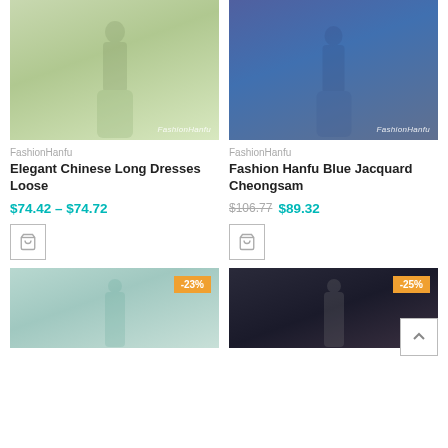[Figure (photo): Woman in light green/cream Chinese long dress (Hanfu), standing in traditional interior setting. FashionHanfu watermark bottom right.]
FashionHanfu
Elegant Chinese Long Dresses Loose
$74.42 – $74.72
[Figure (photo): Woman in blue Chinese jacquard cheongsam, holding round fan, standing in traditional interior. FashionHanfu watermark bottom right.]
FashionHanfu
Fashion Hanfu Blue Jacquard Cheongsam
$106.77  $89.32
[Figure (photo): Woman in light teal Chinese top, front view, patterned background. -23% discount badge.]
[Figure (photo): Woman in dark navy/black Chinese dress, smiling, floral background. -25% discount badge.]